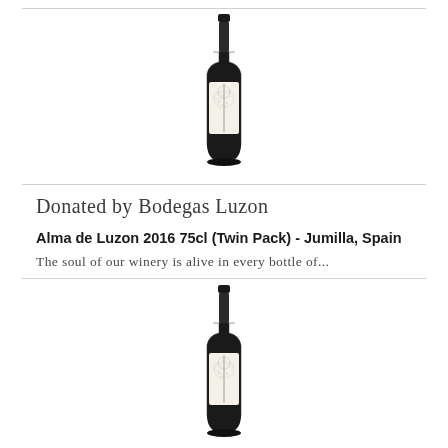[Figure (photo): Wine bottle with white label featuring a tree/floral design, black capsule top, Alma de Luzon branding]
Donated by Bodegas Luzon
Alma de Luzon 2016 75cl (Twin Pack) - Jumilla, Spain
The soul of our winery is alive in every bottle of...
[Figure (photo): Second wine bottle with white label featuring a tree/floral design, black capsule top, Alma de Luzon branding]